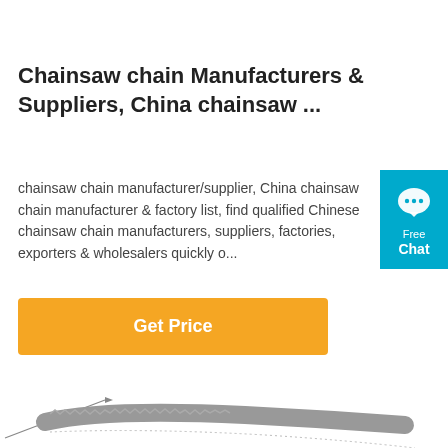Chainsaw chain Manufacturers & Suppliers, China chainsaw ...
chainsaw chain manufacturer/supplier, China chainsaw chain manufacturer & factory list, find qualified Chinese chainsaw chain manufacturers, suppliers, factories, exporters & wholesalers quickly o...
[Figure (other): Orange 'Get Price' button]
[Figure (other): Teal chat widget with speech bubble icon, 'Free Chat' label]
[Figure (photo): Product photo of chainsaw chain/blade, showing a long serrated metal blade with measurement arrow indicating 500mm length]